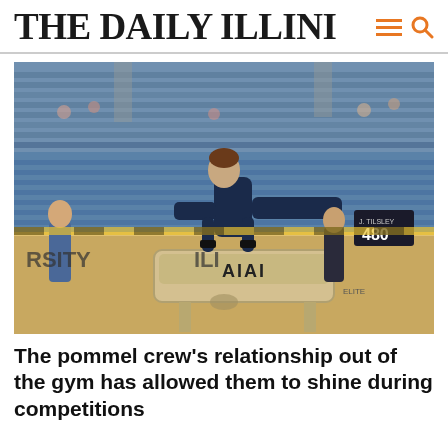THE DAILY ILLINI
[Figure (photo): A male gymnast performing on the pommel horse during a competition in a gymnasium with blue bleachers. The gymnast wears a dark navy uniform and wristbands. The pommel horse is branded 'AIAI Elite'. Spectators and coaches are visible in the background. A scoreboard shows '480'.]
The pommel crew's relationship out of the gym has allowed them to shine during competitions